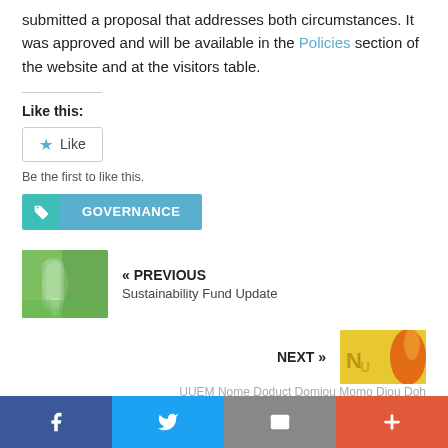submitted a proposal that addresses both circumstances. It was approved and will be available in the Policies section of the website and at the visitors table.
Like this:
Like
Be the first to like this.
GOVERNANCE
« PREVIOUS
Sustainability Fund Update
NEXT »
Facebook  Twitter  Email  More